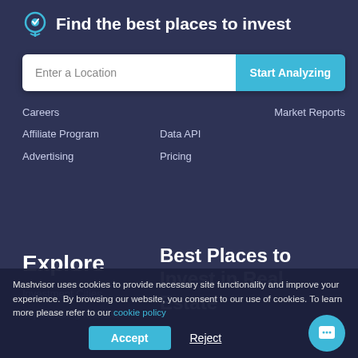Find the best places to invest
[Figure (screenshot): Search bar with 'Enter a Location' text input and 'Start Analyzing' button]
Careers
Market Reports
Data API
Affiliate Program
Pricing
Advertising
Explore
Best Places to Invest in Real Estate
Investment Cities
Top Housing Markets
Mashvisor uses cookies to provide necessary site functionality and improve your experience. By browsing our website, you consent to our use of cookies. To learn more please refer to our cookie policy
Accept
Reject